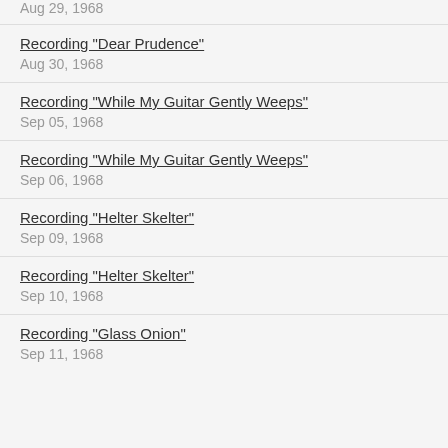Aug 29, 1968
Recording "Dear Prudence"
Aug 30, 1968
Recording "While My Guitar Gently Weeps"
Sep 05, 1968
Recording "While My Guitar Gently Weeps"
Sep 06, 1968
Recording "Helter Skelter"
Sep 09, 1968
Recording "Helter Skelter"
Sep 10, 1968
Recording "Glass Onion"
Sep 11, 1968